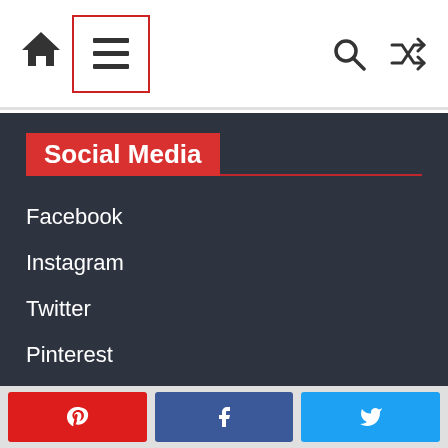Navigation bar with home icon, hamburger menu (highlighted with red border), search icon, and shuffle icon
Social Media
Facebook
Instagram
Twitter
Pinterest
TikTok
Share buttons: Pinterest, Facebook, Twitter